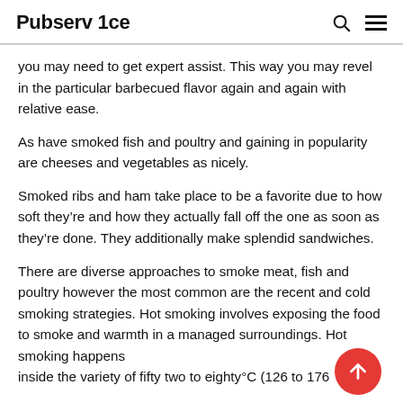Pubserv 1ce
you may need to get expert assist. This way you may revel in the particular barbecued flavor again and again with relative ease.
As have smoked fish and poultry and gaining in popularity are cheeses and vegetables as nicely.
Smoked ribs and ham take place to be a favorite due to how soft they’re and how they actually fall off the one as soon as they’re done. They additionally make splendid sandwiches.
There are diverse approaches to smoke meat, fish and poultry however the most common are the recent and cold smoking strategies. Hot smoking involves exposing the food to smoke and warmth in a managed surroundings. Hot smoking happens inside the variety of fifty two to eighty°C (126 to 176…